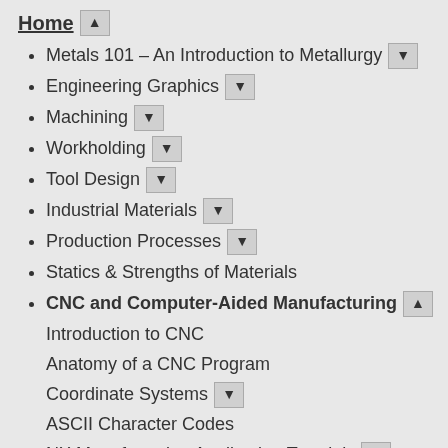Home ▲
Metals 101 – An Introduction to Metallurgy ▼
Engineering Graphics ▼
Machining ▼
Workholding ▼
Tool Design ▼
Industrial Materials ▼
Production Processes ▼
Statics & Strengths of Materials
CNC and Computer-Aided Manufacturing ▲
Introduction to CNC
Anatomy of a CNC Program
Coordinate Systems ▼
ASCII Character Codes
NX Manufacturing Application Tutorials ▼
NX CAM Basic Tutorial Series
Sample Files
Sample Exercises